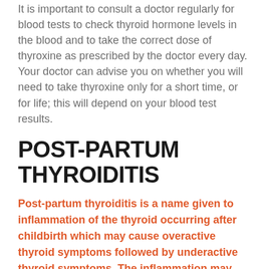It is important to consult a doctor regularly for blood tests to check thyroid hormone levels in the blood and to take the correct dose of thyroxine as prescribed by the doctor every day. Your doctor can advise you on whether you will need to take thyroxine only for a short time, or for life; this will depend on your blood test results.
POST-PARTUM THYROIDITIS
Post-partum thyroiditis is a name given to inflammation of the thyroid occurring after childbirth which may cause overactive thyroid symptoms followed by underactive thyroid symptoms. The inflammation may make the neck tender and swollen.
Post-partum thyroiditis may be dismissed by